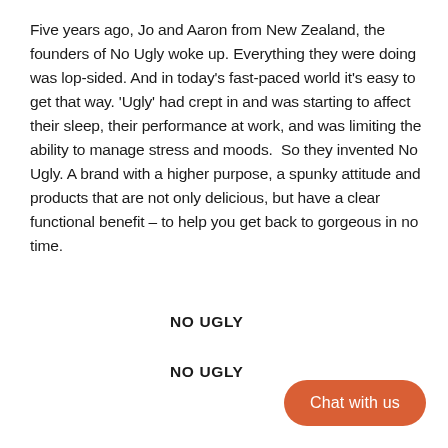Five years ago, Jo and Aaron from New Zealand, the founders of No Ugly woke up. Everything they were doing was lop-sided. And in today's fast-paced world it's easy to get that way. 'Ugly' had crept in and was starting to affect their sleep, their performance at work, and was limiting the ability to manage stress and moods.  So they invented No Ugly. A brand with a higher purpose, a spunky attitude and products that are not only delicious, but have a clear functional benefit – to help you get back to gorgeous in no time.
NO UGLY
NO UGLY
Chat with us